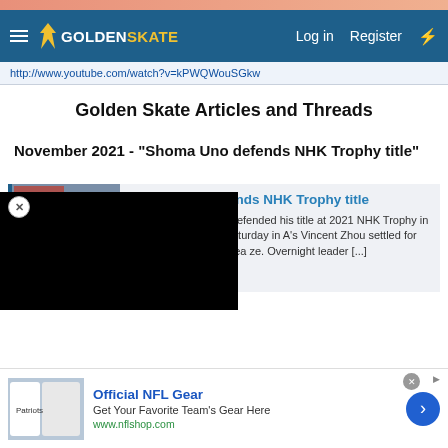GoldenSkate — Log in  Register
http://www.youtube.com/watch?v=kPWQWouSGkw
Golden Skate Articles and Threads
November 2021 - "Shoma Uno defends NHK Trophy title"
Shoma Uno defends NHK Trophy title
Japan's Shoma Uno defended his title at 2021 NHK Trophy in the Men's event on Saturday in A's Vincent Zhou settled for van Cha of South Korea ze. Overnight leader [...]
ate.com
[Figure (screenshot): Thumbnail image of figure skater and ad overlay (black rectangle)]
Official NFL Gear
Get Your Favorite Team's Gear Here
www.nflshop.com